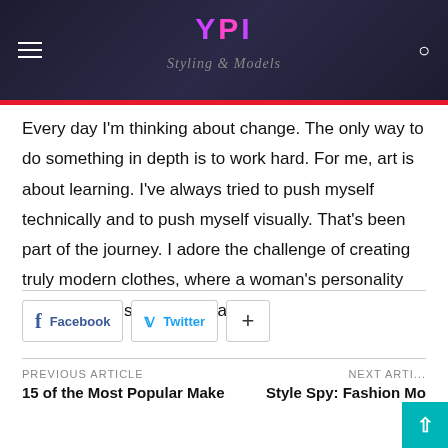YPI — Styling & Models
Every day I'm thinking about change. The only way to do something in depth is to work hard. For me, art is about learning. I've always tried to push myself technically and to push myself visually. That's been part of the journey. I adore the challenge of creating truly modern clothes, where a woman's personality and sense of self are revealed.
Facebook | Twitter | +
PREVIOUS ARTICLE — 15 of the Most Popular Make | NEXT ARTICLE — Style Spy: Fashion Mo